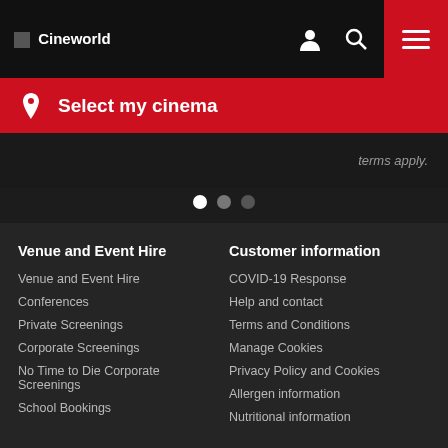Cineworld
Select my cinema
[Figure (screenshot): Cineworld promotional banner partially visible with text 'terms apply.' on dark background with slider dots below]
Venue and Event Hire
Venue and Event Hire
Conferences
Private Screenings
Corporate Screenings
No Time to Die Corporate Screenings
School Bookings
Customer information
COVID-19 Response
Help and contact
Terms and Conditions
Manage Cookies
Privacy Policy and Cookies
Allergen information
Nutritional information